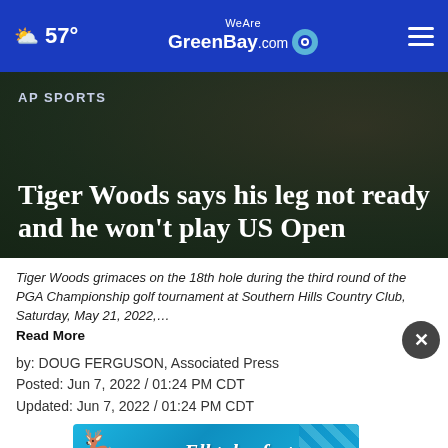57° WeAreGreenBay.com
AP SPORTS
Tiger Woods says his leg not ready and he won't play US Open
Tiger Woods grimaces on the 18th hole during the third round of the PGA Championship golf tournament at Southern Hills Country Club, Saturday, May 21, 2022,… Read More
by: DOUG FERGUSON, Associated Press
Posted: Jun 7, 2022 / 01:24 PM CDT
Updated: Jun 7, 2022 / 01:24 PM CDT
[Figure (infographic): Elktoberfest advertisement banner: September 23-25, Learn More button, elk illustration, blue background with Bavarian pattern]